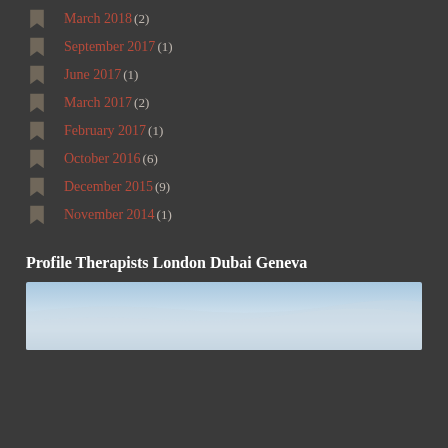March 2018 (2)
September 2017 (1)
June 2017 (1)
March 2017 (2)
February 2017 (1)
October 2016 (6)
December 2015 (9)
November 2014 (1)
Profile Therapists London Dubai Geneva
[Figure (photo): Sky photo with clouds, blue and white tones]